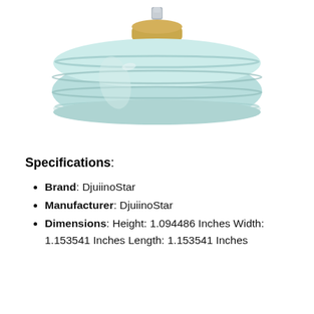[Figure (photo): A flat oval-shaped light aqua/mint glass disc pendant light fixture with horizontal ribbed ridges, viewed from the side. A gold/brass cylindrical cap sits on top, with a small silver screw/mount visible above it.]
Specifications:
Brand: DjuiinoStar
Manufacturer: DjuiinoStar
Dimensions: Height: 1.094486 Inches Width: 1.153541 Inches Length: 1.153541 Inches